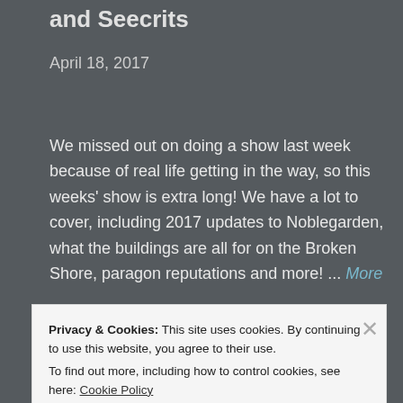and Seecrits
April 18, 2017
We missed out on doing a show last week because of real life getting in the way, so this weeks' show is extra long! We have a lot to cover, including 2017 updates to Noblegarden, what the buildings are all for on the Broken Shore, paragon reputations and more! ... More
Privacy & Cookies: This site uses cookies. By continuing to use this website, you agree to their use. To find out more, including how to control cookies, see here: Cookie Policy
Close and accept